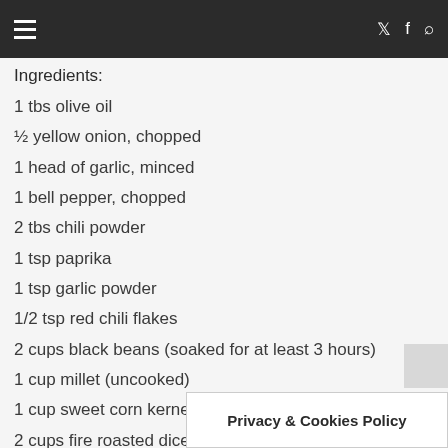≡  𝕏  f  🔍
Ingredients:
1 tbs olive oil
½ yellow onion, chopped
1 head of garlic, minced
1 bell pepper, chopped
2 tbs chili powder
1 tsp paprika
1 tsp garlic powder
1/2 tsp red chili flakes
2 cups black beans (soaked for at least 3 hours)
1 cup millet (uncooked)
1 cup sweet corn kernels (fresh or frozen) (optional)
2 cups fire roasted diced tomatoes
7 cups vegetable stock (or water)
1 cup fresh mixed greens (optional)
Himalayan salt, to taste
Privacy & Cookies Policy